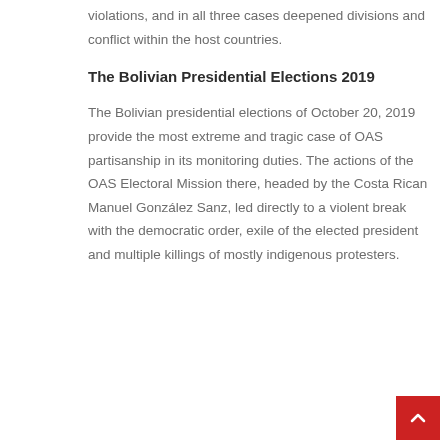violations, and in all three cases deepened divisions and conflict within the host countries.
The Bolivian Presidential Elections 2019
The Bolivian presidential elections of October 20, 2019 provide the most extreme and tragic case of OAS partisanship in its monitoring duties. The actions of the OAS Electoral Mission there, headed by the Costa Rican Manuel González Sanz, led directly to a violent break with the democratic order, exile of the elected president and multiple killings of mostly indigenous protesters.
Just hours after the polls closed and befor…